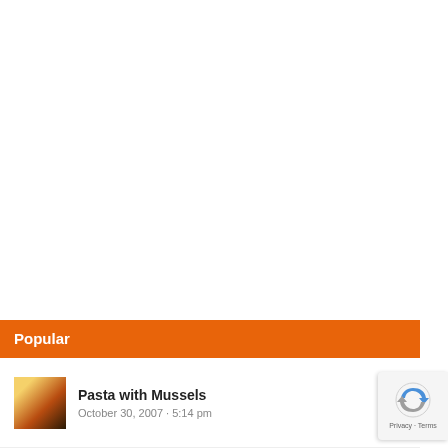Popular
Pasta with Mussels
October 30, 2007 · 5:14 pm